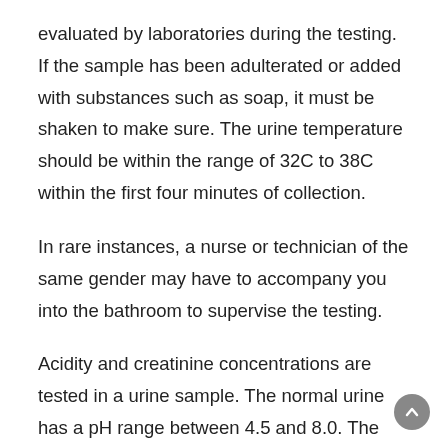evaluated by laboratories during the testing. If the sample has been adulterated or added with substances such as soap, it must be shaken to make sure. The urine temperature should be within the range of 32C to 38C within the first four minutes of collection.
In rare instances, a nurse or technician of the same gender may have to accompany you into the bathroom to supervise the testing.
Acidity and creatinine concentrations are tested in a urine sample. The normal urine has a pH range between 4.5 and 8.0. The specimen may be suspected of being contaminated outside of this